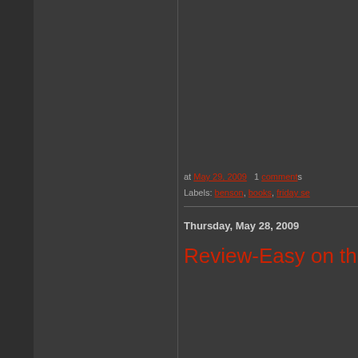at May 29, 2009   1 comments
Labels: benson, books, friday se
Thursday, May 28, 2009
Review-Easy on the